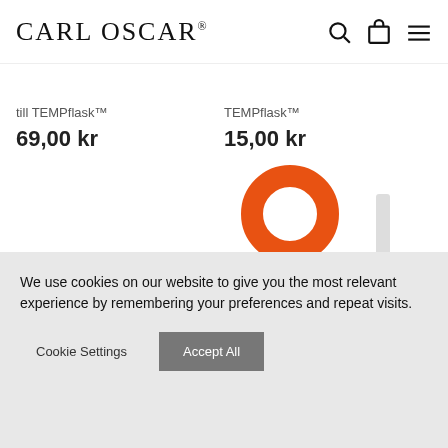CARL OSCAR®
till TEMPflask™
69,00 kr
TEMPflask™
15,00 kr
[Figure (photo): Orange plastic key-ring cap and white straw for TEMPflask products, partially shown against white background. Dark grey action bar at bottom with 'Välj Alternativ' and 'Lägg I Varukorg' buttons.]
Välj Alternativ
Lägg I Varukorg
We use cookies on our website to give you the most relevant experience by remembering your preferences and repeat visits.
Cookie Settings
Accept All